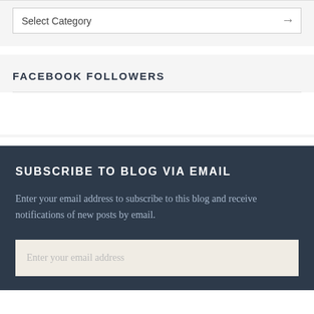[Figure (screenshot): A dropdown select box labeled 'Select Category' with a chevron arrow on the right, inside a light gray widget area.]
FACEBOOK FOLLOWERS
SUBSCRIBE TO BLOG VIA EMAIL
Enter your email address to subscribe to this blog and receive notifications of new posts by email.
Enter your email address